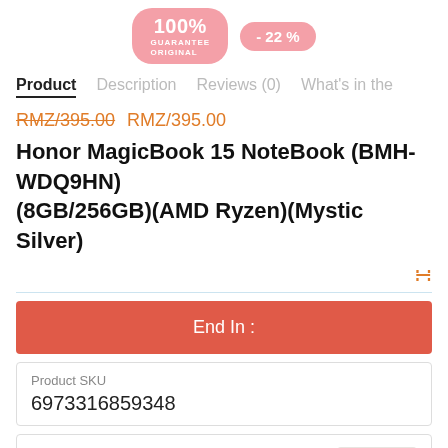[Figure (other): Top banner with pink '100% GUARANTEE ORIGINAL' badge and '-22%' discount badge]
Product   Description   Reviews (0)   What's in the
RMZ/395.00 RMZ/395.00
Honor MagicBook 15 NoteBook (BMH-WDQ9HN)(8GB/256GB)(AMD Ryzen)(Mystic Silver)
End In :
| Product SKU |
| --- |
| 6973316859348 |
| Brand |
| --- |
| Honor |
Reward Points
2699